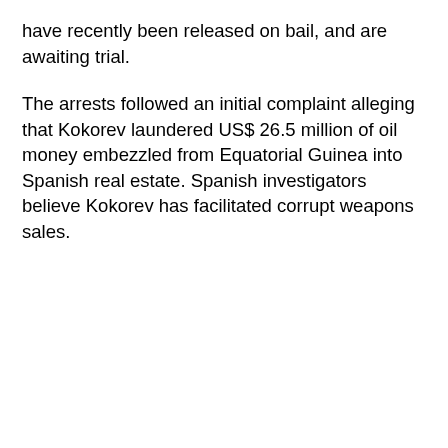have recently been released on bail, and are awaiting trial.
The arrests followed an initial complaint alleging that Kokorev laundered US$ 26.5 million of oil money embezzled from Equatorial Guinea into Spanish real estate. Spanish investigators believe Kokorev has facilitated corrupt weapons sales.